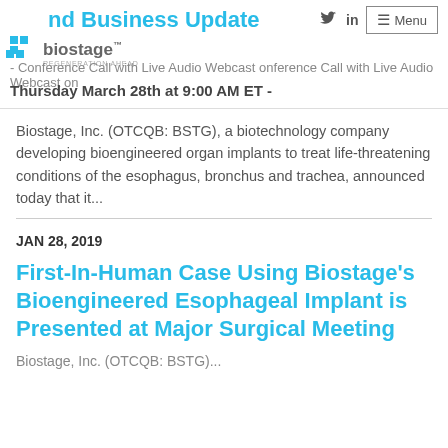nd Business Update - Conference Call with Live Audio Webcast on Thursday March 28th at 9:00 AM ET -
Biostage, Inc. (OTCQB: BSTG), a biotechnology company developing bioengineered organ implants to treat life-threatening conditions of the esophagus, bronchus and trachea, announced today that it...
JAN 28, 2019
First-In-Human Case Using Biostage's Bioengineered Esophageal Implant is Presented at Major Surgical Meeting
Biostage, Inc. (OTCQB: BSTG)...